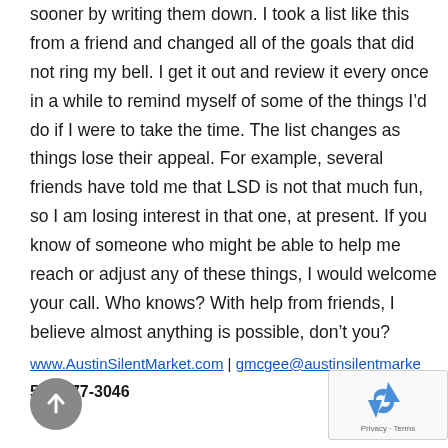sooner by writing them down. I took a list like this from a friend and changed all of the goals that did not ring my bell. I get it out and review it every once in a while to remind myself of some of the things I’d do if I were to take the time. The list changes as things lose their appeal. For example, several friends have told me that LSD is not that much fun, so I am losing interest in that one, at present. If you know of someone who might be able to help me reach or adjust any of these things, I would welcome your call. Who knows? With help from friends, I believe almost anything is possible, don’t you?
www.AustinSilentMarket.com | gmcgee@austinsilentmarket...
512-477-3046
[Figure (other): Gray circular scroll-to-top button with upward arrow icon]
[Figure (other): Google reCAPTCHA widget with Privacy and Terms text]